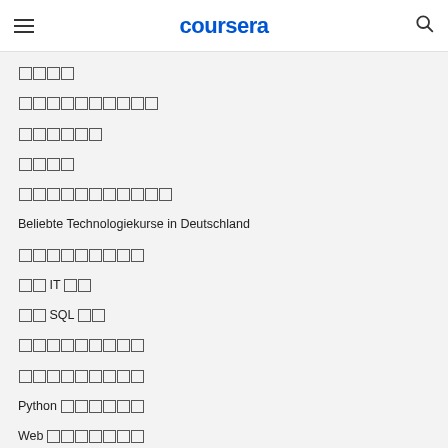coursera
□□□□
□□□□□□□□□□
□□□□□□
□□□□
□□□□□□□□□□□
Beliebte Technologiekurse in Deutschland
□□□□□□□□□
□□ IT □□
□□ SQL □□
□□□□□□□□□
□□□□□□□□□
Python □□□□□□
Web □□□□□□□
□□□□□□□